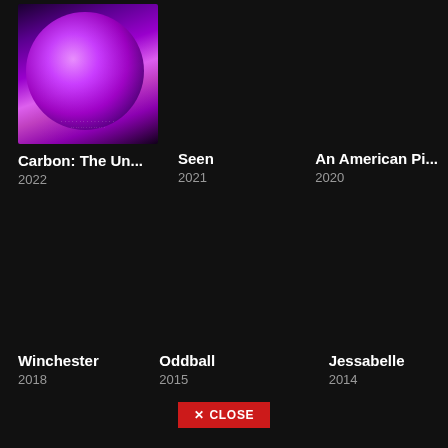[Figure (photo): Movie poster thumbnail showing a purple/pink glowing planet or orb on dark background with text overlay]
Carbon: The Un...
2022
Seen
2021
An American Pi...
2020
Winchester
2018
Oddball
2015
Jessabelle
2014
✕ CLOSE